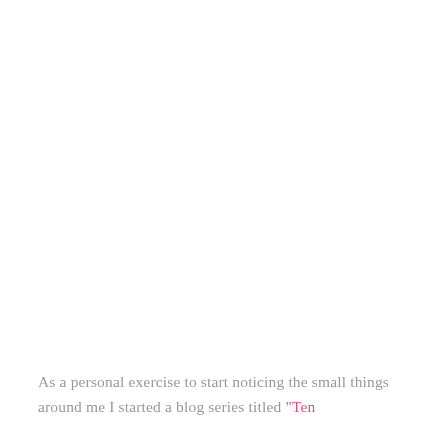As a personal exercise to start noticing the small things around me I started a blog series titled “Ten